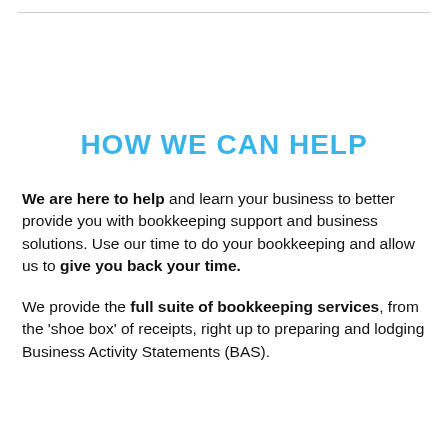HOW WE CAN HELP
We are here to help and learn your business to better provide you with bookkeeping support and business solutions. Use our time to do your bookkeeping and allow us to give you back your time.
We provide the full suite of bookkeeping services, from the ‘shoe box’ of receipts, right up to preparing and lodging Business Activity Statements (BAS).